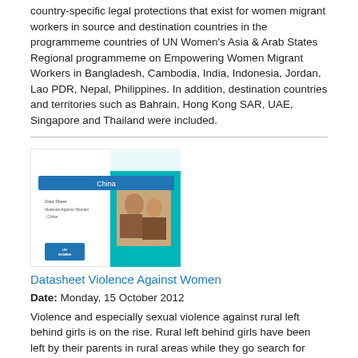country-specific legal protections that exist for women migrant workers in source and destination countries in the programmeme countries of UN Women's Asia & Arab States Regional programmeme on Empowering Women Migrant Workers in Bangladesh, Cambodia, India, Indonesia, Jordan, Lao PDR, Nepal, Philippines. In addition, destination countries and territories such as Bahrain, Hong Kong SAR, UAE, Singapore and Thailand were included.
[Figure (illustration): Thumbnail of a document cover for 'Datasheet Violence Against Women - China' with a teal/white design and a photo of women]
Datasheet Violence Against Women
Date: Monday, 15 October 2012
Violence and especially sexual violence against rural left behind girls is on the rise. Rural left behind girls have been left by their parents in rural areas while they go search for employment in urban areas. These girls do not have proper awareness of sexual violence or how to protect themselves, and with little or no guardianship are severely vulnerable to being taken advantage of. Rural left behind